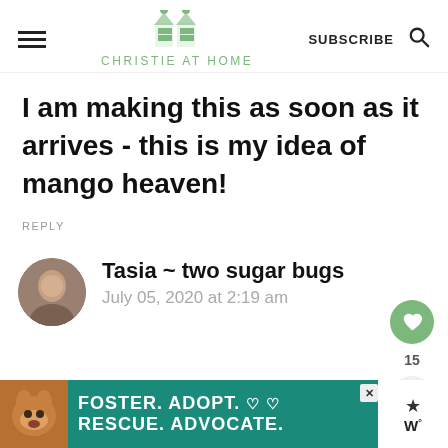CHRISTIE AT HOME
I am making this as soon as it arrives - this is my idea of mango heaven!
REPLY
Tasia ~ two sugar bugs
July 05, 2020 at 2:19 am
[Figure (infographic): Foster. Adopt. Rescue. Advocate. advertisement banner with a dog photo]